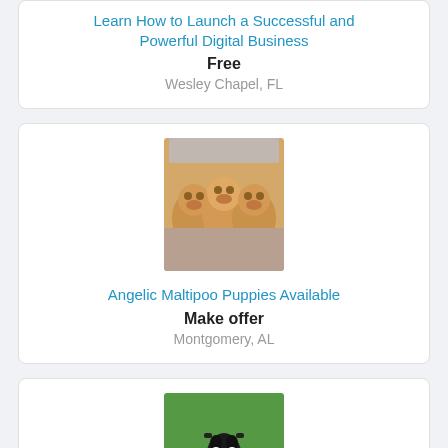Learn How to Launch a Successful and Powerful Digital Business
Free
Wesley Chapel, FL
[Figure (photo): Three small fluffy brown/golden Maltipoo puppies being held in someone's hands]
Angelic Maltipoo Puppies Available
Make offer
Montgomery, AL
[Figure (photo): A black and white Boston Terrier puppy standing on green grass]
CKC & APRI Boston Terrier Puppies !